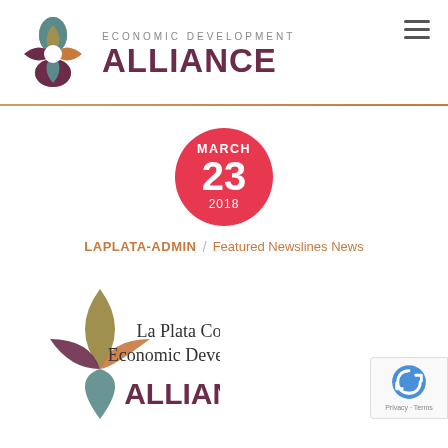[Figure (logo): Economic Development Alliance logo with multicolored interlocking petal icon and text 'ECONOMIC DEVELOPMENT ALLIANCE']
[Figure (other): Red circular date badge showing MARCH 23 2018]
LAPLATA-ADMIN / Featured Newslines News
[Figure (logo): La Plata County Economic Development Alliance logo - partial view at bottom of page]
[Figure (other): reCAPTCHA badge with Privacy and Terms text]